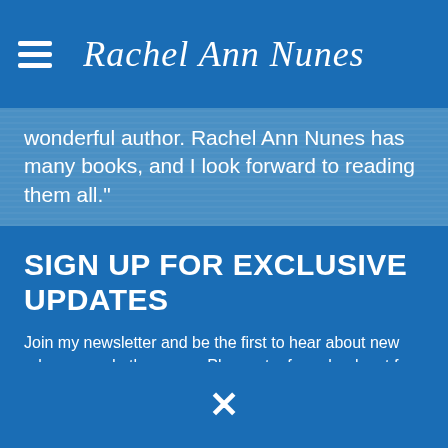Rachel Ann Nunes
wonderful author. Rachel Ann Nunes has many books, and I look forward to reading them all."
SIGN UP FOR EXCLUSIVE UPDATES
Join my newsletter and be the first to hear about new releases and other news. Plus, get a free ebook not free anywhere else!
example@me.com
SIGN ME UP!
[Figure (other): Close/dismiss button (X icon) at bottom center of modal overlay]